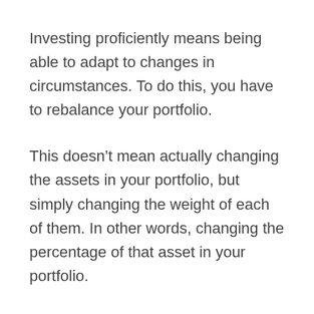Investing proficiently means being able to adapt to changes in circumstances. To do this, you have to rebalance your portfolio.
This doesn't mean actually changing the assets in your portfolio, but simply changing the weight of each of them. In other words, changing the percentage of that asset in your portfolio.
In a bear market, you would probably want to take a more “defensive” approach. This